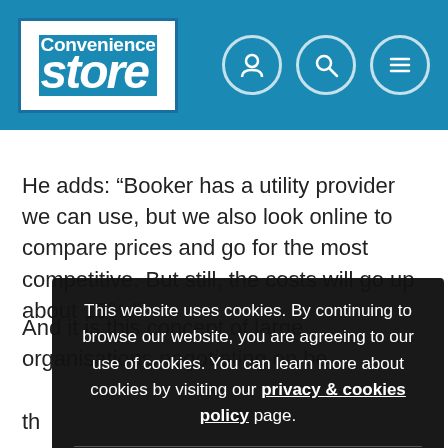Convenience store
He adds: “Booker has a utility provider we can use, but we also look online to compare prices and go for the most competitive. But still, the costs will go up about 15%.”
And it is this concept of large organisations negotiating on behalf of their members that is attracting more symbol groups... Ri... So... op... behalf.
This website uses cookies. By continuing to browse our website, you are agreeing to our use of cookies. You can learn more about cookies by visiting our privacy & cookies policy page.
OK